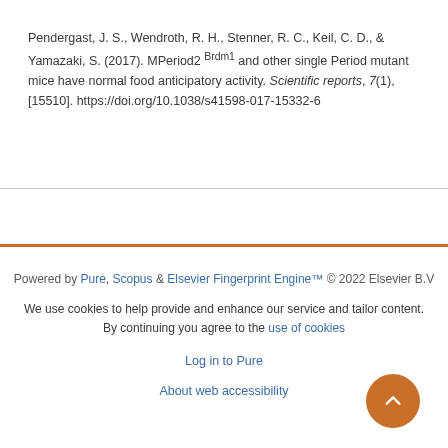Pendergast, J. S., Wendroth, R. H., Stenner, R. C., Keil, C. D., & Yamazaki, S. (2017). MPeriod2 Brdm1 and other single Period mutant mice have normal food anticipatory activity. Scientific reports, 7(1), [15510]. https://doi.org/10.1038/s41598-017-15332-6
Powered by Pure, Scopus & Elsevier Fingerprint Engine™ © 2022 Elsevier B.V
We use cookies to help provide and enhance our service and tailor content. By continuing you agree to the use of cookies
Log in to Pure
About web accessibility